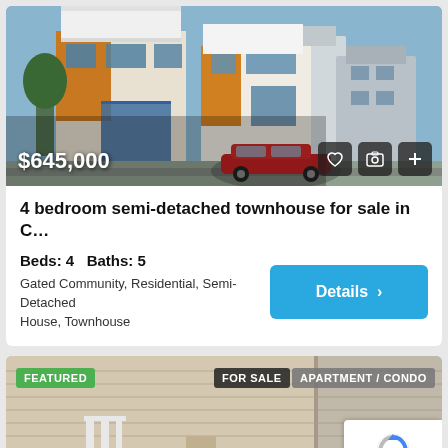[Figure (photo): Photo of a modern multi-story semi-detached townhouse with orange/wood and white facade, red car in front, blue sky background. Price overlay $645,000 at bottom left, icon buttons (heart, camera, plus) at bottom right.]
4 bedroom semi-detached townhouse for sale in C...
Beds: 4   Baths: 5
Gated Community, Residential, Semi-Detached House, Townhouse
[Figure (photo): Photo of a beige apartment/condo building exterior. Badges: FEATURED (green), FOR SALE (dark), APARTMENT / CONDO (gray). reCAPTCHA overlay at bottom right.]